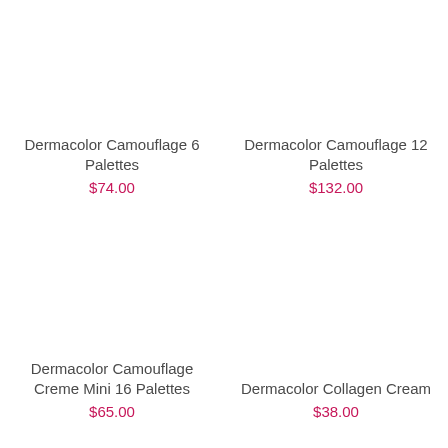Dermacolor Camouflage 6 Palettes
$74.00
Dermacolor Camouflage 12 Palettes
$132.00
Dermacolor Camouflage Creme Mini 16 Palettes
$65.00
Dermacolor Collagen Cream
$38.00